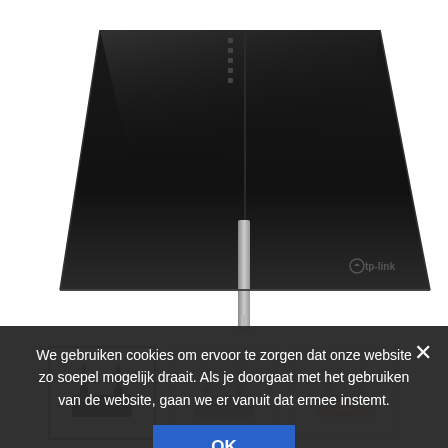[Figure (photo): Top-down view of a black TP-Link router with a central antenna on a white background]
[Figure (photo): Thumbnail gallery showing three router variants: black, grey, and beige/gold colored TP-Link routers]
TP-Link Archer MR...
€105,00
We gebruiken cookies om ervoor te zorgen dat onze website zo soepel mogelijk draait. Als je doorgaat met het gebruiken van de website, gaan we er vanuit dat ermee instemt.
OK